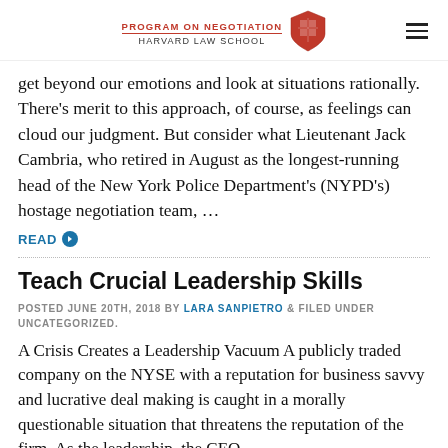PROGRAM ON NEGOTIATION HARVARD LAW SCHOOL
get beyond our emotions and look at situations rationally. There's merit to this approach, of course, as feelings can cloud our judgment. But consider what Lieutenant Jack Cambria, who retired in August as the longest-running head of the New York Police Department's (NYPD's) hostage negotiation team, ...
READ
Teach Crucial Leadership Skills
POSTED JUNE 20TH, 2018 BY LARA SANPIETRO & FILED UNDER UNCATEGORIZED.
A Crisis Creates a Leadership Vacuum A publicly traded company on the NYSE with a reputation for business savvy and lucrative deal making is caught in a morally questionable situation that threatens the reputation of the firm. As the leadership, the CEO...